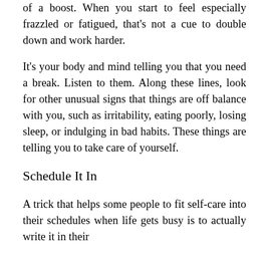of a boost. When you start to feel especially frazzled or fatigued, that's not a cue to double down and work harder.
It's your body and mind telling you that you need a break. Listen to them. Along these lines, look for other unusual signs that things are off balance with you, such as irritability, eating poorly, losing sleep, or indulging in bad habits. These things are telling you to take care of yourself.
Schedule It In
A trick that helps some people to fit self-care into their schedules when life gets busy is to actually write it in their